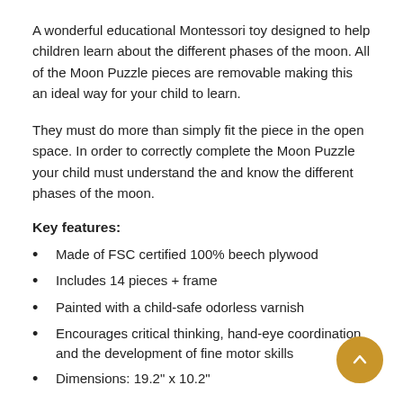A wonderful educational Montessori toy designed to help children learn about the different phases of the moon. All of the Moon Puzzle pieces are removable making this an ideal way for your child to learn.
They must do more than simply fit the piece in the open space. In order to correctly complete the Moon Puzzle your child must understand the and know the different phases of the moon.
Key features:
Made of FSC certified 100% beech plywood
Includes 14 pieces + frame
Painted with a child-safe odorless varnish
Encourages critical thinking, hand-eye coordination and the development of fine motor skills
Dimensions: 19.2" x 10.2"